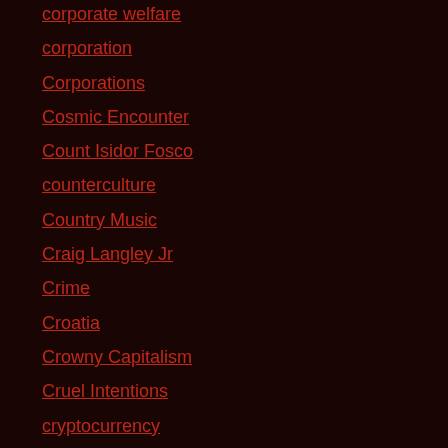corporate welfare
corporation
Corporations
Cosmic Encounter
Count Isidor Fosco
counterculture
Country Music
Craig Langley Jr
Crime
Croatia
Crowny Capitalism
Cruel Intentions
cryptocurrency
Cuba
Cuckservatives